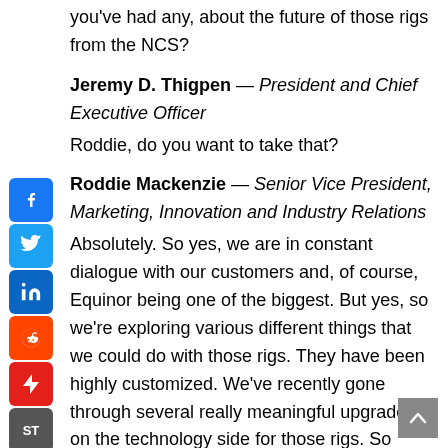you've had any, about the future of those rigs from the NCS?
Jeremy D. Thigpen — President and Chief Executive Officer
Roddie, do you want to take that?
Roddie Mackenzie — Senior Vice President, Marketing, Innovation and Industry Relations
Absolutely. So yes, we are in constant dialogue with our customers and, of course, Equinor being one of the biggest. But yes, so we're exploring various different things that we could do with those rigs. They have been highly customized. We've recently gone through several really meaningful upgrades on the technology side for those rigs. So Equinor's invested in those rigs. They're